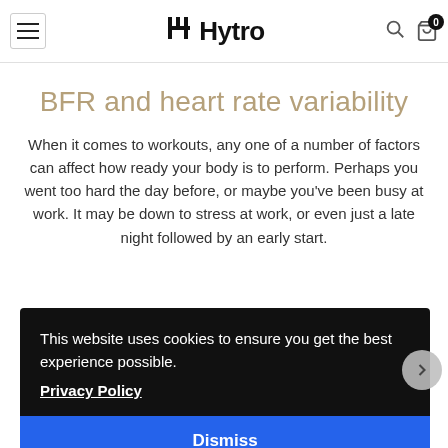Hytro
BFR and heart rate variability
When it comes to workouts, any one of a number of factors can affect how ready your body is to perform. Perhaps you went too hard the day before, or maybe you've been busy at work. It may be down to stress at work, or even just a late night followed by an early start.
This website uses cookies to ensure you get the best experience possible. Privacy Policy
Dismiss